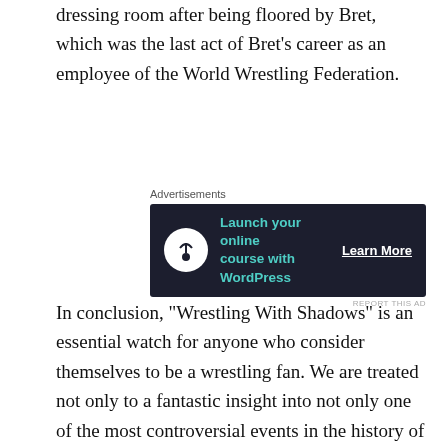dressing room after being floored by Bret, which was the last act of Bret's career as an employee of the World Wrestling Federation.
[Figure (other): Advertisement banner: 'Launch your online course with WordPress' with a Learn More CTA button on a dark navy background.]
In conclusion, "Wrestling With Shadows" is an essential watch for anyone who consider themselves to be a wrestling fan. We are treated not only to a fantastic insight into not only one of the most controversial events in the history of wrestling, but also into the minds of one of it's most iconic figures.
This wraps up another edition of Ringside Review. Thanks for reading!